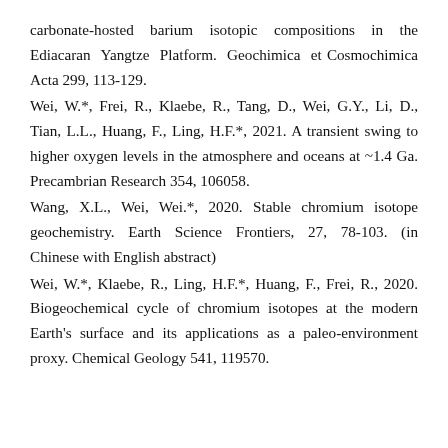carbonate-hosted barium isotopic compositions in the Ediacaran Yangtze Platform. Geochimica et Cosmochimica Acta 299, 113-129.
Wei, W.*, Frei, R., Klaebe, R., Tang, D., Wei, G.Y., Li, D., Tian, L.L., Huang, F., Ling, H.F.*, 2021. A transient swing to higher oxygen levels in the atmosphere and oceans at ~1.4 Ga. Precambrian Research 354, 106058.
Wang, X.L., Wei, Wei.*, 2020. Stable chromium isotope geochemistry. Earth Science Frontiers, 27, 78-103. (in Chinese with English abstract)
Wei, W.*, Klaebe, R., Ling, H.F.*, Huang, F., Frei, R., 2020. Biogeochemical cycle of chromium isotopes at the modern Earth's surface and its applications as a paleo-environment proxy. Chemical Geology 541, 119570.